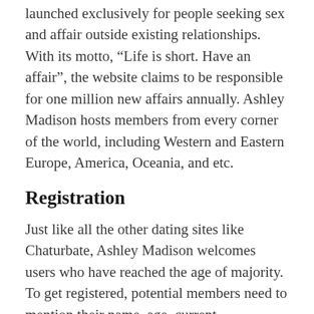launched exclusively for people seeking sex and affair outside existing relationships. With its motto, “Life is short. Have an affair”, the website claims to be responsible for one million new affairs annually. Ashley Madison hosts members from every corner of the world, including Western and Eastern Europe, America, Oceania, and etc.
Registration
Just like all the other dating sites like Chaturbate, Ashley Madison welcomes users who have reached the age of majority. To get registered, potential members need to mention their name, age, current relationship status. Describe your appearance to increase your chances of finding someone.
How It Works